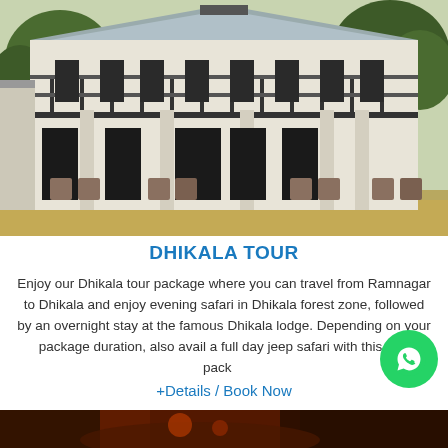[Figure (photo): Two-storey white colonial-style building (Dhikala lodge) with wrap-around balcony, dark railings, columns, and surrounding green lawn and trees]
DHIKALA TOUR
Enjoy our Dhikala tour package where you can travel from Ramnagar to Dhikala and enjoy evening safari in Dhikala forest zone, followed by an overnight stay at the famous Dhikala lodge. Depending on your package duration, also avail a full day jeep safari with this tour pack…
+Details / Book Now
[Figure (photo): Dark reddish-orange forest/jungle scene at bottom of page, partially visible]